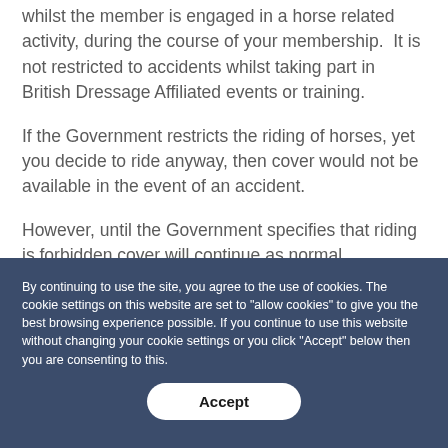whilst the member is engaged in a horse related activity, during the course of your membership.  It is not restricted to accidents whilst taking part in British Dressage Affiliated events or training.
If the Government restricts the riding of horses, yet you decide to ride anyway, then cover would not be available in the event of an accident.
However, until the Government specifies that riding is forbidden cover will continue as normal.
By continuing to use the site, you agree to the use of cookies. The cookie settings on this website are set to "allow cookies" to give you the best browsing experience possible. If you continue to use this website without changing your cookie settings or you click "Accept" below then you are consenting to this.